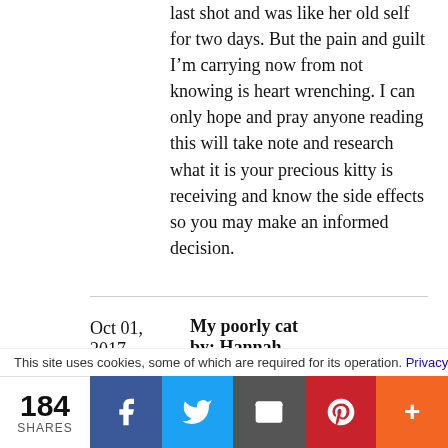last shot and was like her old self for two days. But the pain and guilt I’m carrying now from not knowing is heart wrenching. I can only hope and pray anyone reading this will take note and research what it is your precious kitty is receiving and know the side effects so you may make an informed decision.
Oct 01, 2017   My poorly cat by: Hannah
This site uses cookies, some of which are required for its operation. Privacy
184 SHARES